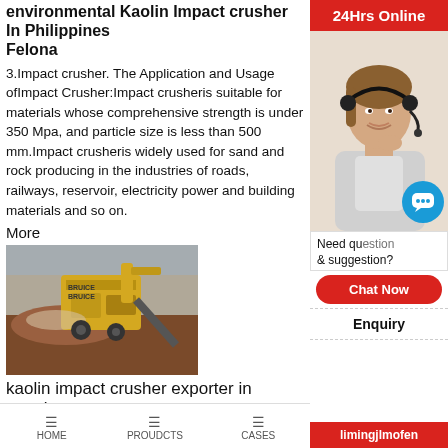environmental Kaolin Impact crusher In Philippines Felona
3.Impact crusher. The Application and Usage ofImpact Crusher:Impact crusheris suitable for materials whose comprehensive strength is under 350 Mpa, and particle size is less than 500 mm.Impact crusheris widely used for sand and rock producing in the industries of roads, railways, reservoir, electricity power and building materials and so on.
More
[Figure (photo): Yellow industrial impact crusher machine in operation at a mining or quarrying site with red earth/rock material]
kaolin impact crusher exporter in angola
kaolin cone crusher manufacturer in south africa ... kaolin crusher repair in angola loofamsterdam. Coal impact crusher in south africa YouTube. 18 Aug 2016,, from hammer in
[Figure (photo): Customer service agent with headset - 24Hrs Online support widget with chat bubble]
24Hrs Online
Need qu... & suggestion?
Chat Now
Enquiry
limingjlmofen
HOME   PROUDCTS   CASES